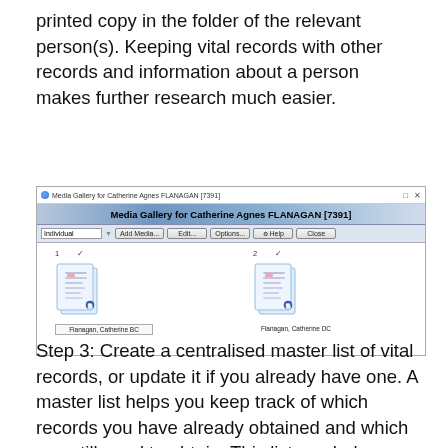printed copy in the folder of the relevant person(s). Keeping vital records with other records and information about a person makes further research much easier.
[Figure (screenshot): Media Gallery for Catherine Agnes FLANAGAN [7391] — a genealogy software window showing two document icons labeled 'Flanagan, Catherine BC' and 'Flanagan, Catherine DC', with toolbar buttons: Add Media, Edit, Options, Help, Close.]
Step 3: Create a centralised master list of vital records, or update it if you already have one. A master list helps you keep track of which records you have already obtained and which you still need to obtain. This list can help you prioritise which ones